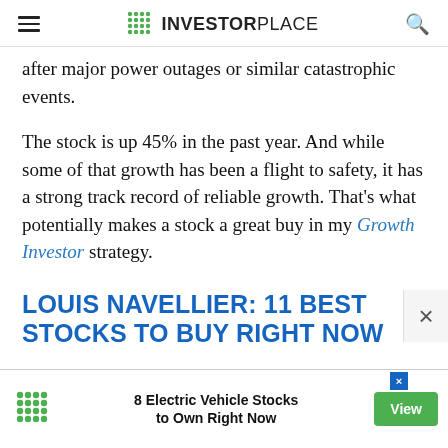INVESTORPLACE
after major power outages or similar catastrophic events.
The stock is up 45% in the past year. And while some of that growth has been a flight to safety, it has a strong track record of reliable growth. That's what potentially makes a stock a great buy in my Growth Investor strategy.
LOUIS NAVELLIER: 11 BEST STOCKS TO BUY RIGHT NOW
[Figure (infographic): Advertisement banner: InvestorPlace green dot logo, text '8 Electric Vehicle Stocks to Own Right Now', green 'View' button, and a blue 'X' close icon in upper right corner.]